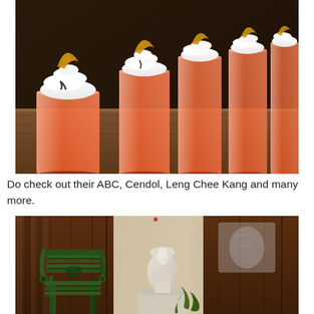[Figure (photo): A row of glasses filled with orange-colored drinks (likely ABC or Leng Chee Kang), each topped with whipped cream and a golden crispy wafer/chip garnish, arranged on a wooden counter.]
Do check out their ABC, Cendol, Leng Chee Kang and many more.
[Figure (photo): Interior of a restaurant showing a vintage green cast-iron bench with swan motif on the left, and a white classical sculpture/figurine on the right, with wooden paneling in the background.]